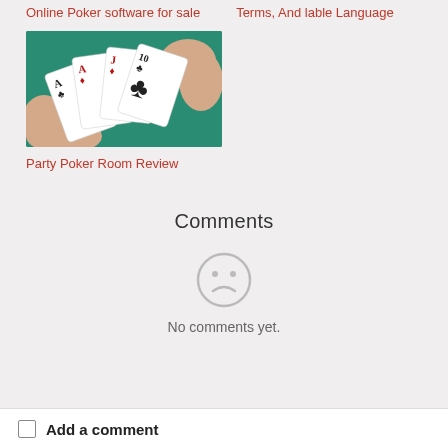Online Poker software for sale   Terms, And lable Language
[Figure (photo): A hand holding playing cards (two aces, a jack, and a ten of clubs) on a green poker table surface.]
Party Poker Room Review
Comments
[Figure (illustration): A grey sad face (frown) emoticon circle icon.]
No comments yet.
Add a comment